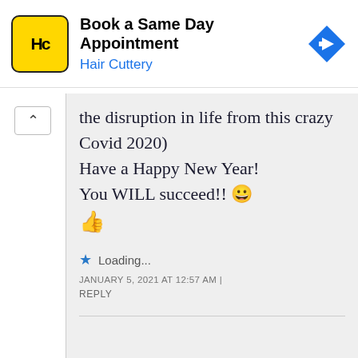[Figure (logo): Hair Cuttery ad banner with HC logo (yellow square, black H and C letters), text 'Book a Same Day Appointment' and 'Hair Cuttery' in blue, and a blue diamond navigation arrow icon on the right]
the disruption in life from this crazy Covid 2020)
Have a Happy New Year!
You WILL succeed!! 😀
👍
Loading...
JANUARY 5, 2021 AT 12:57 AM
REPLY